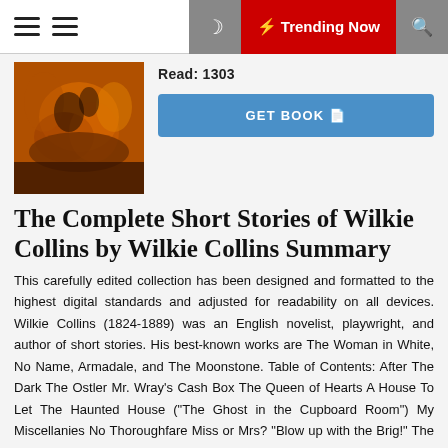Trending Now
Read: 1303
[Figure (photo): Book cover image with warm orange/brown tones showing a figure on horseback or similar scene]
GET BOOK
The Complete Short Stories of Wilkie Collins by Wilkie Collins Summary
This carefully edited collection has been designed and formatted to the highest digital standards and adjusted for readability on all devices. Wilkie Collins (1824-1889) was an English novelist, playwright, and author of short stories. His best-known works are The Woman in White, No Name, Armadale, and The Moonstone. Table of Contents: After The Dark The Ostler Mr. Wray's Cash Box The Queen of Hearts A House To Let The Haunted House ("The Ghost in the Cupboard Room") My Miscellanies No Thoroughfare Miss or Mrs? "Blow up with the Brig!" The Hidden Cash The Perils of Certain English Prisoners The Lazy Tour of Two Idle Apprentices